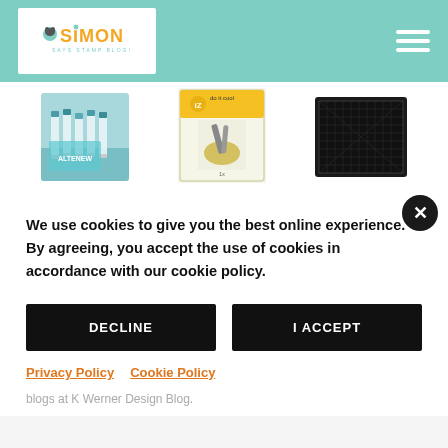[Figure (logo): Simon Says Stamp Blog logo - orange text on white background with teal navigation bar and hamburger menu]
[Figure (photo): Three product images: (1) teal/blue marker pens on fabric background, (2) craft tool (detailed blade/tool) in yellow packaging, (3) black cutting mat with grid lines]
We use cookies to give you the best online experience. By agreeing, you accept the use of cookies in accordance with our cookie policy.
DECLINE
I ACCEPT
Privacy Policy   Cookie Policy
blogs at K Werner Design Blog.